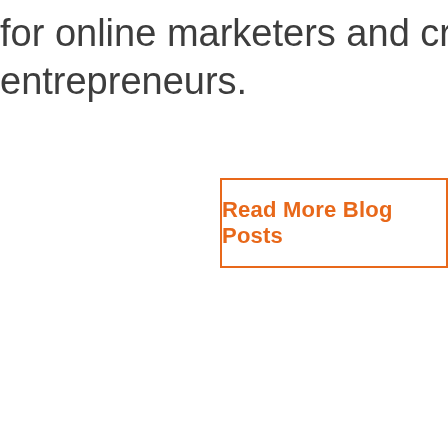for online marketers and creative entrepreneurs.
Read More Blog Posts